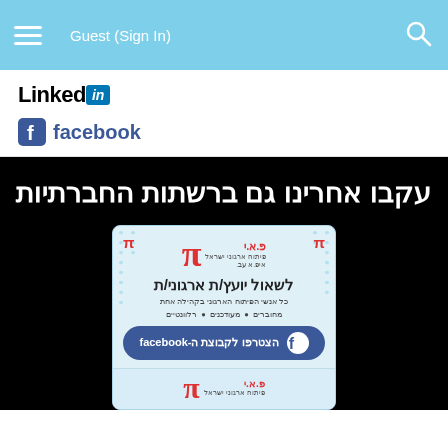Guest (Sign In)
[Figure (logo): LinkedIn logo]
[Figure (logo): Facebook logo with text 'facebook']
עקבו אחרינו גם ברשתות החברתיות
[Figure (infographic): PI (Pituach Irguni Israel) Facebook group join card in Hebrew with pi symbol logos and Facebook join button]